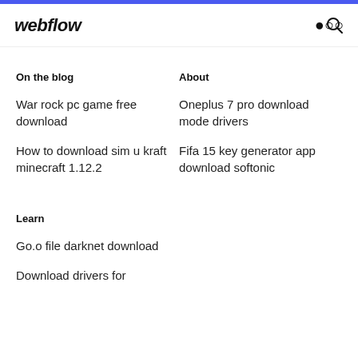webflow
On the blog
About
War rock pc game free download
Oneplus 7 pro download mode drivers
How to download sim u kraft minecraft 1.12.2
Fifa 15 key generator app download softonic
Learn
Go.o file darknet download
Download drivers for